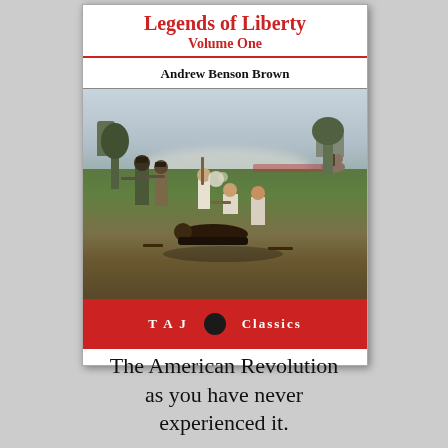[Figure (illustration): Book cover of 'Legends of Liberty Volume One' by Andrew Benson Brown. Shows a Revolutionary War battle scene painting with colonial soldiers fighting on a green field, smoke from muskets, a building in the background. Red banner at bottom reads 'T A J [logo] Classics'. Published by TAJ Classics.]
The American Revolution as you have never experienced it.